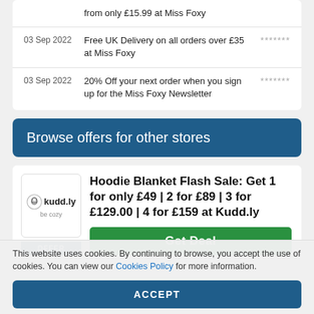| Date | Offer | Code |
| --- | --- | --- |
|  | from only £15.99 at Miss Foxy |  |
| 03 Sep 2022 | Free UK Delivery on all orders over £35 at Miss Foxy | ******* |
| 03 Sep 2022 | 20% Off your next order when you sign up for the Miss Foxy Newsletter | ******* |
Browse offers for other stores
[Figure (logo): Kudd.ly logo with tagline 'be cozy' and OFFER badge]
Hoodie Blanket Flash Sale: Get 1 for only £49 | 2 for £89 | 3 for £129.00 | 4 for £159 at Kudd.ly
Get Deal
This website uses cookies. By continuing to browse, you accept the use of cookies. You can view our Cookies Policy for more information.
ACCEPT